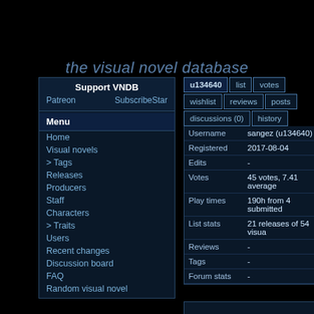the visual novel database
Support VNDB
Patreon    SubscribeStar
Menu
Home
Visual novels
> Tags
Releases
Producers
Staff
Characters
> Traits
Users
Recent changes
Discussion board
FAQ
Random visual novel
| Field | Value |
| --- | --- |
| Username | sangez (u134640) |
| Registered | 2017-08-04 |
| Edits | - |
| Votes | 45 votes, 7.41 average |
| Play times | 190h from 4 submitted |
| List stats | 21 releases of 54 visua |
| Reviews | - |
| Tags | - |
| Forum stats | - |